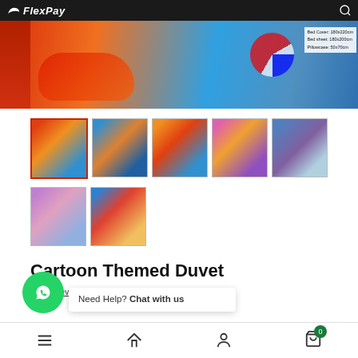FlexPay
[Figure (photo): Main product image showing cartoon themed duvet with Cars and colorful characters]
[Figure (photo): Thumbnail 1: Cars themed duvet (selected)]
[Figure (photo): Thumbnail 2: Cars themed duvet blue]
[Figure (photo): Thumbnail 3: Cars themed duvet orange]
[Figure (photo): Thumbnail 4: Pink princess themed duvet]
[Figure (photo): Thumbnail 5: Frozen themed duvet]
[Figure (photo): Thumbnail 6: Princess themed duvet purple]
[Figure (photo): Thumbnail 7: Spiderman themed duvet]
Cartoon Themed Duvet
Write a review
Need Help? Chat with us